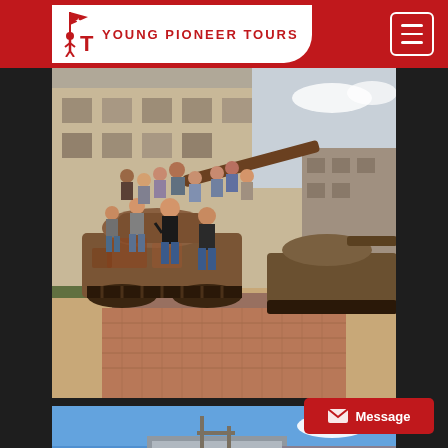[Figure (screenshot): Website screenshot of Young Pioneer Tours. Red header bar with white logo pill containing YPT icon and 'YOUNG PIONEER TOURS' text, hamburger menu button top right. Main photo shows a group of tourists posing on a rusted military tank with more tanks and a building in the background. Below is a partial second photo showing buildings against a blue sky. A red Message button appears bottom right.]